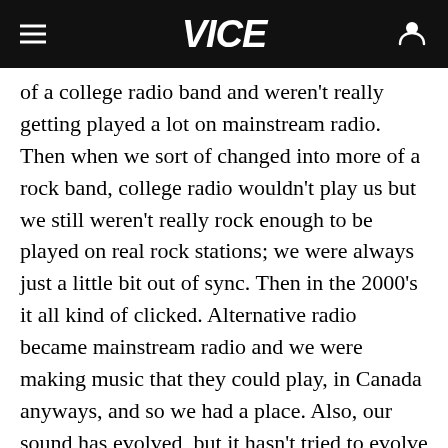VICE
of a college radio band and weren't really getting played a lot on mainstream radio. Then when we sort of changed into more of a rock band, college radio wouldn't play us but we still weren't really rock enough to be played on real rock stations; we were always just a little bit out of sync. Then in the 2000's it all kind of clicked. Alternative radio became mainstream radio and we were making music that they could play, in Canada anyways, and so we had a place. Also, our sound has evolved, but it hasn't tried to evolve with the times, we just kind of did our own thing. Some of the other bands from that